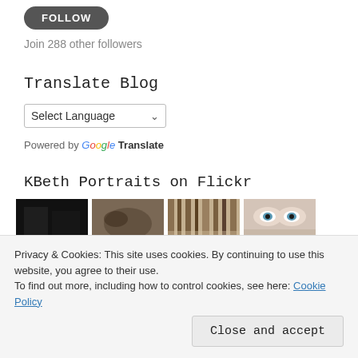[Figure (other): Follow button (dark rounded pill shape)]
Join 288 other followers
Translate Blog
[Figure (other): Select Language dropdown widget]
Powered by Google Translate
KBeth Portraits on Flickr
[Figure (photo): Four thumbnail photos from Flickr: dark abstract, blurry outdoor, forest/trees, close-up eyes]
Privacy & Cookies: This site uses cookies. By continuing to use this website, you agree to their use.
To find out more, including how to control cookies, see here: Cookie Policy
Close and accept